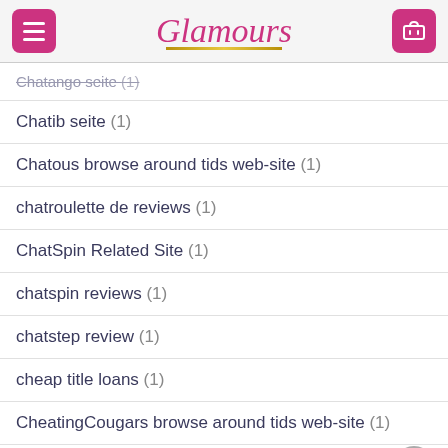Glamours
Chatango seite (1)
Chatib seite (1)
Chatous browse around tids web-site (1)
chatroulette de reviews (1)
ChatSpin Related Site (1)
chatspin reviews (1)
chatstep review (1)
cheap title loans (1)
CheatingCougars browse around tids web-site (1)
CheatingCougars Related Site (1)